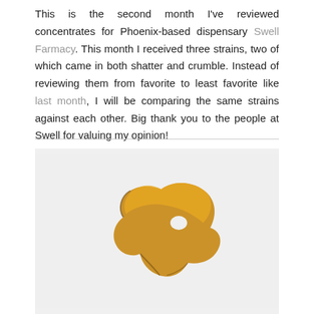This is the second month I've reviewed concentrates for Phoenix-based dispensary Swell Farmacy. This month I received three strains, two of which came in both shatter and crumble. Instead of reviewing them from favorite to least favorite like last month, I will be comparing the same strains against each other. Big thank you to the people at Swell for valuing my opinion!
[Figure (photo): A translucent golden-amber cannabis concentrate (shatter) piece with an irregular shape and a small hole near the top, photographed on a light grey/white background.]